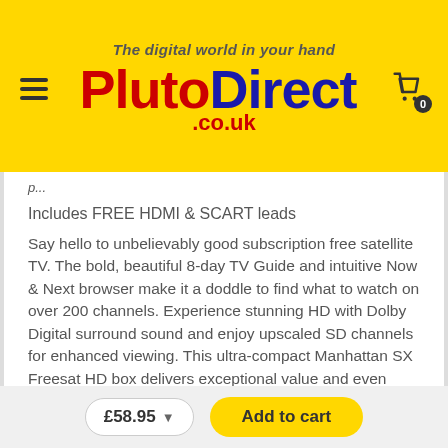The digital world in your hand PlutoDirect.co.uk
Includes FREE HDMI & SCART leads
Say hello to unbelievably good subscription free satellite TV. The bold, beautiful 8-day TV Guide and intuitive Now & Next browser make it a doddle to find what to watch on over 200 channels. Experience stunning HD with Dolby Digital surround sound and enjoy upscaled SD channels for enhanced viewing. This ultra-compact Manhattan SX Freesat HD box delivers exceptional value and even includes both HDMI and SCART cables.
£58.95
Add to cart